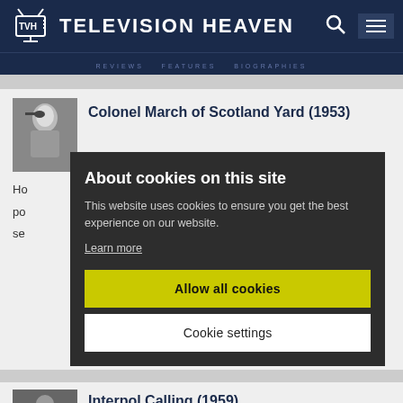Television Heaven
[Figure (screenshot): Television Heaven website screenshot with cookie consent modal overlay. Shows 'Colonel March of Scotland Yard (1953)' entry with thumbnail, partial body text, and a cookie consent dialog with 'Allow all cookies' and 'Cookie settings' buttons. Bottom of page shows partial 'Interpol Calling (1959)' entry.]